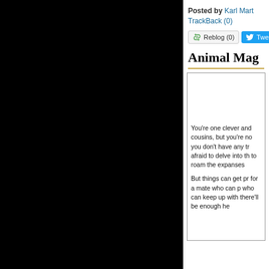[Figure (photo): Large black panel on the left side of the page, approximately 305px wide, representing a cropped/obscured image area]
Posted by Karl Mart
TrackBack (0)
Reblog (0)   Twe
Animal Mag
You're one clever and cousins, but you're no you don't have any tr afraid to delve into th to roam the expanses

But things can get pr for a mate who can p who can keep up with there'll be enough he